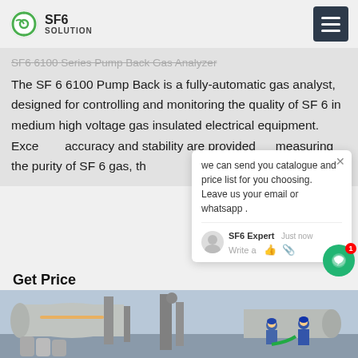SF6 SOLUTION
The SF 6 6100 Pump Back is a fully-automatic gas analyst, designed for controlling and monitoring the quality of SF 6 in medium high voltage gas insulated electrical equipment. Excellent accuracy and stability are provided by measuring the purity of SF 6 gas, through specially selected sensors.
we can send you catalogue and price list for you choosing. Leave us your email or whatsapp .
SF6 Expert   just now
Write a
Get Price
[Figure (photo): Industrial SF6 gas equipment with large cylindrical pressure vessels and workers in blue uniforms and hard hats performing maintenance or installation work outdoors.]